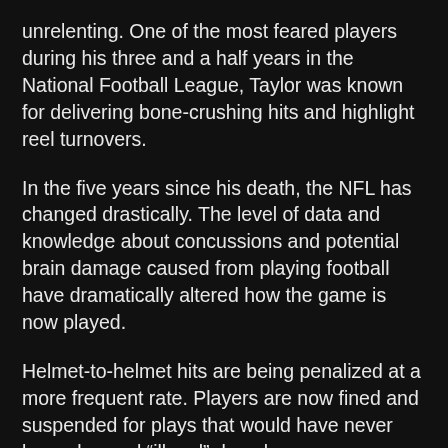unrelenting. One of the most feared players during his three and a half years in the National Football League, Taylor was known for delivering bone-crushing hits and highlight reel turnovers.
In the five years since his death, the NFL has changed drastically. The level of data and knowledge about concussions and potential brain damage caused from playing football have dramatically altered how the game is now played.
Helmet-to-helmet hits are being penalized at a more frequent rate. Players are now fined and suspended for plays that would have never been deemed “illegal” decades ago.
Looking back on Sean’s hard-hitting style of play and the rate of concussions accrued during an NFL